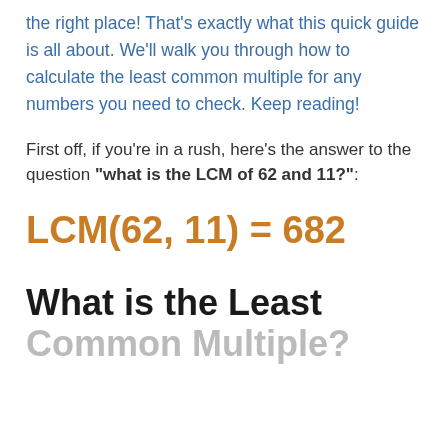the right place! That's exactly what this quick guide is all about. We'll walk you through how to calculate the least common multiple for any numbers you need to check. Keep reading!
First off, if you're in a rush, here's the answer to the question "what is the LCM of 62 and 11?":
What is the Least Common Multiple?